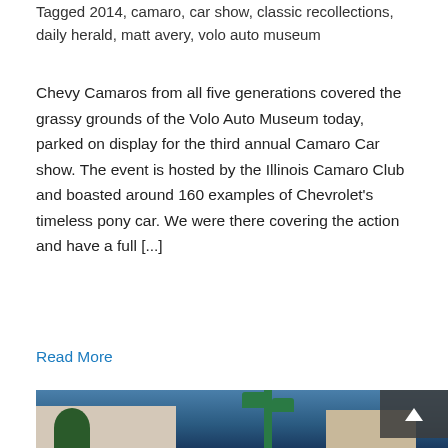Tagged 2014, camaro, car show, classic recollections, daily herald, matt avery, volo auto museum
Chevy Camaros from all five generations covered the grassy grounds of the Volo Auto Museum today, parked on display for the third annual Camaro Car show. The event is hosted by the Illinois Camaro Club and boasted around 160 examples of Chevrolet’s timeless pony car. We were there covering the action and have a full [...]
Read More
[Figure (photo): Photograph of a street scene with green lamp posts, buildings, and a blue sky background. An arrow-up button overlay is visible in the upper right corner of the image.]